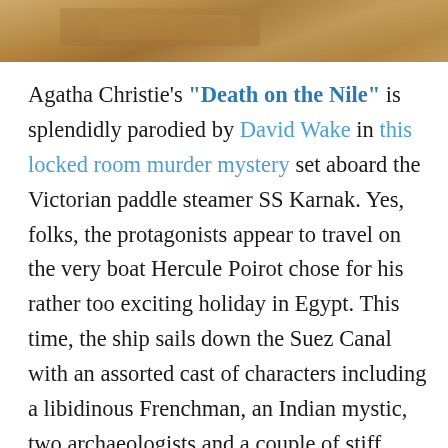[Figure (photo): Partial photograph of ancient stone ruins or desert archaeological site, warm brown/sandstone tones, cropped at top of page]
Agatha Christie's "Death on the Nile" is splendidly parodied by David Wake in this locked room murder mystery set aboard the Victorian paddle steamer SS Karnak. Yes, folks, the protagonists appear to travel on the very boat Hercule Poirot chose for his rather too exciting holiday in Egypt. This time, the ship sails down the Suez Canal with an assorted cast of characters including a libidinous Frenchman, an Indian mystic, two archaeologists and a couple of stiff upper lip British army men. They are accompanied by the Derring-Do Club, three plucky young women whose parents have forbidden them to do any adventuring, ever. A